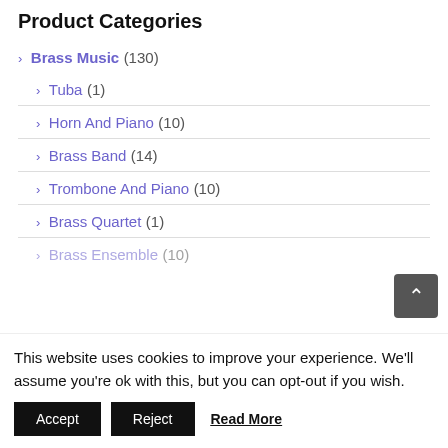Product Categories
Brass Music (130)
Tuba (1)
Horn And Piano (10)
Brass Band (14)
Trombone And Piano (10)
Brass Quartet (1)
Brass Ensemble (10)
This website uses cookies to improve your experience. We'll assume you're ok with this, but you can opt-out if you wish.
Accept | Reject | Read More